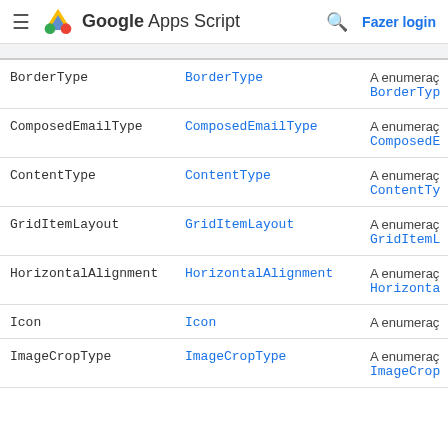Google Apps Script — Fazer login
|  |  |  |
| --- | --- | --- |
| BorderType | BorderType | A enumeraç... BorderTyp... |
| ComposedEmailType | ComposedEmailType | A enumeraç... ComposedE... |
| ContentType | ContentType | A enumeraç... ContentTy... |
| GridItemLayout | GridItemLayout | A enumeraç... GridItemL... |
| HorizontalAlignment | HorizontalAlignment | A enumeraç... Horizonta... |
| Icon | Icon | A enumeraç... |
| ImageCropType | ImageCropType | A enumeraç... ImageCrop... |